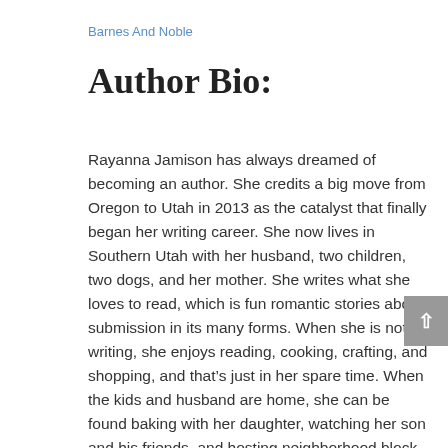Barnes And Noble
Author Bio:
Rayanna Jamison has always dreamed of becoming an author. She credits a big move from Oregon to Utah in 2013 as the catalyst that finally began her writing career. She now lives in Southern Utah with her husband, two children, two dogs, and her mother. She writes what she loves to read, which is fun romantic stories about submission in its many forms. When she is not writing, she enjoys reading, cooking, crafting, and shopping, and that's just in her spare time. When the kids and husband are home, she can be found baking with her daughter, watching her son and his friends, and hosting neighborhood block parties. She loves exploring her new area, and finding fun new things to do with her family.